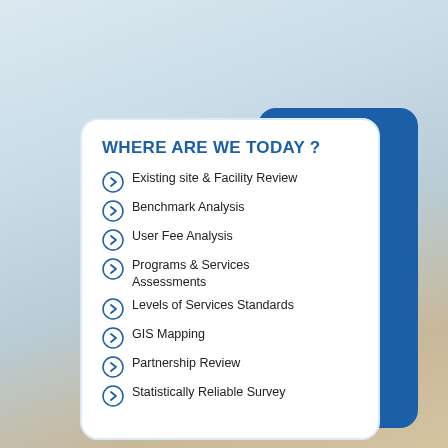WHERE ARE WE TODAY ?
Existing site & Facility Review
Benchmark Analysis
User Fee Analysis
Programs & Services Assessments
Levels of Services Standards
GIS Mapping
Partnership Review
Statistically Reliable Survey